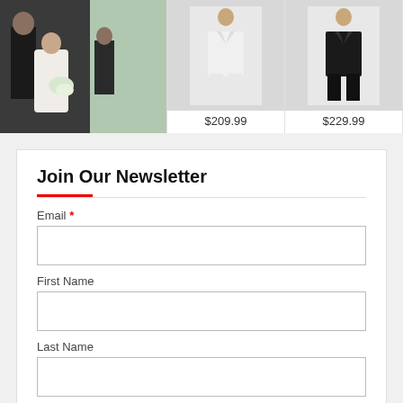[Figure (photo): Top banner with wedding photo on left and two product images with prices $209.99 and $229.99]
Join Our Newsletter
Email *
First Name
Last Name
Lists
eEdition Notification
Newsletter